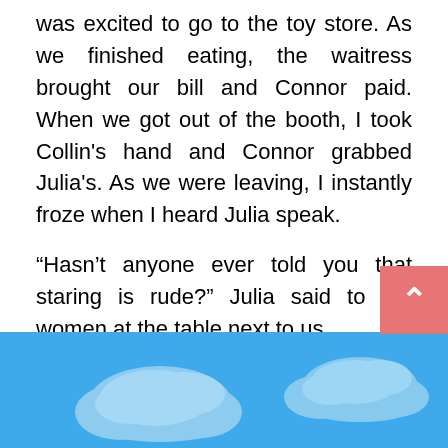was excited to go to the toy store. As we finished eating, the waitress brought our bill and Connor paid. When we got out of the booth, I took Collin's hand and Connor grabbed Julia's. As we were leaving, I instantly froze when I heard Julia speak.
“Hasn’t anyone ever told you that staring is rude?” Julia said to the women at the table next to us.
I heard Connor apologizing to them as I smiled and kept walking. When we stepped outside the restaurant, Connor stopped and looked at me.
“Did you hear what your daughter said back there?”
“Yes.” I laughed.
“It isn… Now I
[Figure (illustration): Blue sky background with white cloud illustrations partially covering the bottom text area]